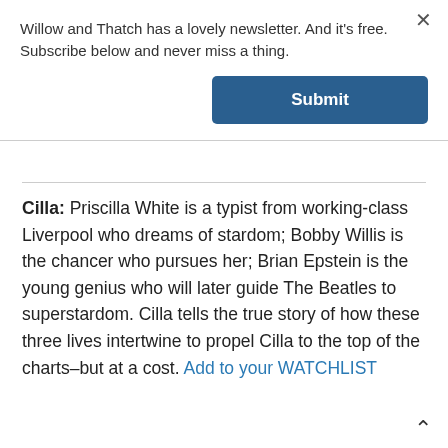Willow and Thatch has a lovely newsletter. And it's free. Subscribe below and never miss a thing.
Submit
Cilla: Priscilla White is a typist from working-class Liverpool who dreams of stardom; Bobby Willis is the chancer who pursues her; Brian Epstein is the young genius who will later guide The Beatles to superstardom. Cilla tells the true story of how these three lives intertwine to propel Cilla to the top of the charts–but at a cost. Add to your WATCHLIST